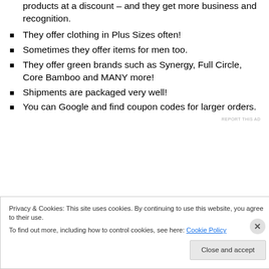products at a discount – and they get more business and recognition.
They offer clothing in Plus Sizes often!
Sometimes they offer items for men too.
They offer green brands such as Synergy, Full Circle, Core Bamboo and MANY more!
Shipments are packaged very well!
You can Google and find coupon codes for larger orders.
REPORT THIS AD
Privacy & Cookies: This site uses cookies. By continuing to use this website, you agree to their use. To find out more, including how to control cookies, see here: Cookie Policy
Close and accept